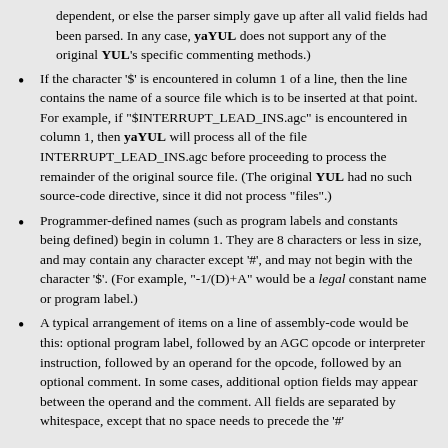dependent, or else the parser simply gave up after all valid fields had been parsed. In any case, yaYUL does not support any of the original YUL's specific commenting methods.)
If the character '$' is encountered in column 1 of a line, then the line contains the name of a source file which is to be inserted at that point. For example, if "$INTERRUPT_LEAD_INS.agc" is encountered in column 1, then yaYUL will process all of the file INTERRUPT_LEAD_INS.agc before proceeding to process the remainder of the original source file. (The original YUL had no such source-code directive, since it did not process "files".)
Programmer-defined names (such as program labels and constants being defined) begin in column 1. They are 8 characters or less in size, and may contain any character except '#', and may not begin with the character '$'. (For example, "-1/(D)+A" would be a legal constant name or program label.)
A typical arrangement of items on a line of assembly-code would be this: optional program label, followed by an AGC opcode or interpreter instruction, followed by an operand for the opcode, followed by an optional comment. In some cases, additional option fields may appear between the operand and the comment. All fields are separated by whitespace, except that no space needs to precede the '#'